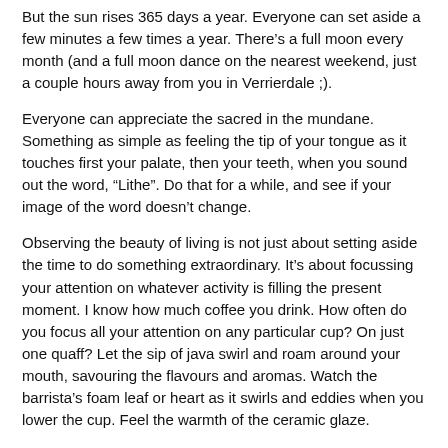But the sun rises 365 days a year. Everyone can set aside a few minutes a few times a year. There’s a full moon every month (and a full moon dance on the nearest weekend, just a couple hours away from you in Verrierdale ;).
Everyone can appreciate the sacred in the mundane. Something as simple as feeling the tip of your tongue as it touches first your palate, then your teeth, when you sound out the word, “Lithe”. Do that for a while, and see if your image of the word doesn’t change.
Observing the beauty of living is not just about setting aside the time to do something extraordinary. It’s about focussing your attention on whatever activity is filling the present moment. I know how much coffee you drink. How often do you focus all your attention on any particular cup? On just one quaff? Let the sip of java swirl and roam around your mouth, savouring the flavours and aromas. Watch the barrista’s foam leaf or heart as it swirls and eddies when you lower the cup. Feel the warmth of the ceramic glaze.
The ancient sacrament was originally expressed as, “Stop, and smell the roses.”
[smile]
:)